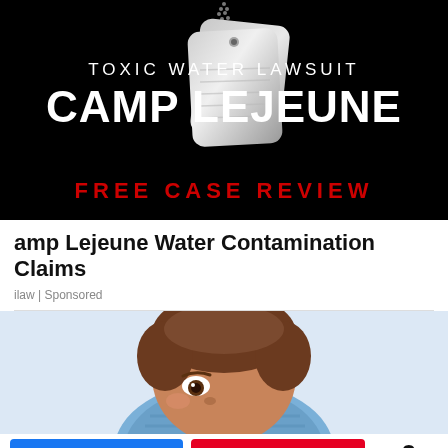[Figure (illustration): Advertisement image on black background showing military dog tags on a chain with text: TOXIC WATER LAWSUIT, CAMP LEJEUNE, FREE CASE REVIEW]
amp Lejeune Water Contamination Claims
ilaw | Sponsored
[Figure (illustration): Partial illustration of a cartoon child character with brown hair and blue clothing, partially cropped at bottom of visible area]
0 SHARES